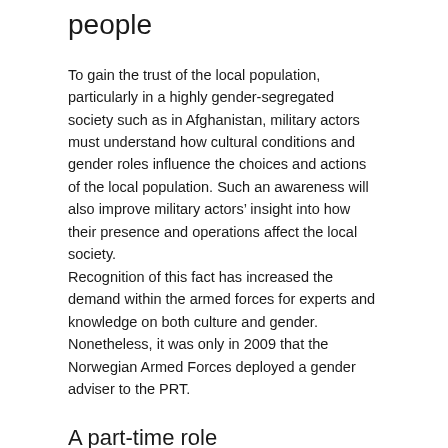people
To gain the trust of the local population, particularly in a highly gender-segregated society such as in Afghanistan, military actors must understand how cultural conditions and gender roles influence the choices and actions of the local population. Such an awareness will also improve military actors’ insight into how their presence and operations affect the local society.
Recognition of this fact has increased the demand within the armed forces for experts and knowledge on both culture and gender. Nonetheless, it was only in 2009 that the Norwegian Armed Forces deployed a gender adviser to the PRT.
A part-time role